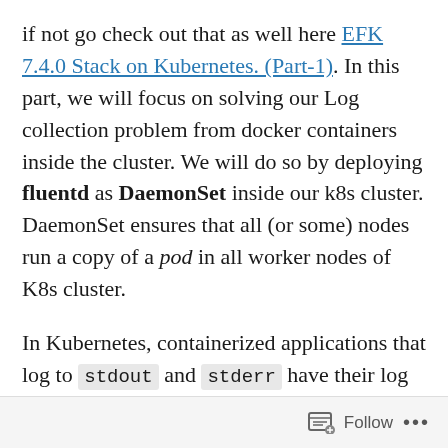if not go check out that as well here EFK 7.4.0 Stack on Kubernetes. (Part-1). In this part, we will focus on solving our Log collection problem from docker containers inside the cluster. We will do so by deploying fluentd as DaemonSet inside our k8s cluster. DaemonSet ensures that all (or some) nodes run a copy of a pod in all worker nodes of K8s cluster.
In Kubernetes, containerized applications that log to stdout and stderr have their log streams captured and redirected to JSON files on the nodes. The Fluentd Pod will tail these log files, filter log events, transform the log data, and ship it off to the Elasticsearch cluster
Follow ...